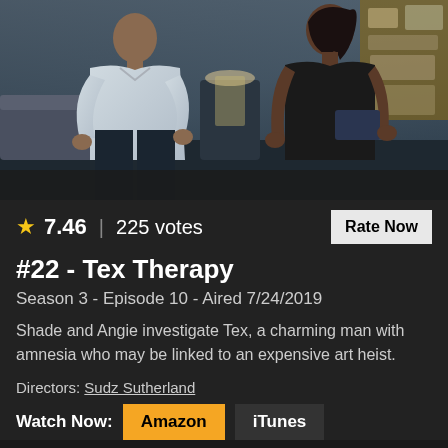[Figure (photo): A man in a white shirt and a woman in a black sleeveless top appear to be in conversation in a dimly lit room. The man stands on the left, the woman on the right holding what appears to be a folder or tablet.]
★ 7.46 | 225 votes
Rate Now
#22 - Tex Therapy
Season 3 - Episode 10 - Aired 7/24/2019
Shade and Angie investigate Tex, a charming man with amnesia who may be linked to an expensive art heist.
Directors: Sudz Sutherland
Watch Now: Amazon iTunes